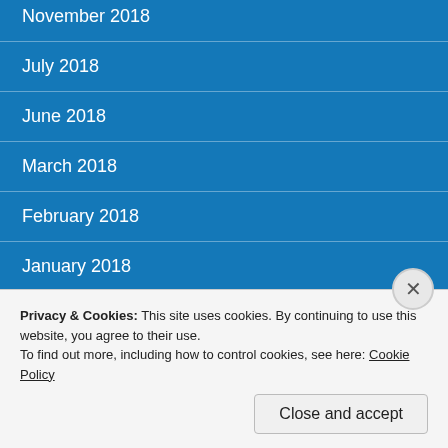November 2018
July 2018
June 2018
March 2018
February 2018
January 2018
December 2017
November 2017
September 2017
Privacy & Cookies: This site uses cookies. By continuing to use this website, you agree to their use.
To find out more, including how to control cookies, see here: Cookie Policy
Close and accept